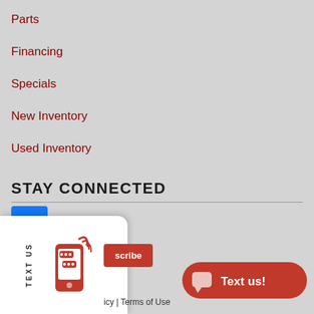Parts
Financing
Specials
New Inventory
Used Inventory
STAY CONNECTED
[Figure (logo): Facebook logo icon - blue square with white 'f']
[Figure (infographic): Text us widget with phone/messaging icon and TEXT US label rotated vertically]
scribe
icy | Terms of Use
[Figure (infographic): Red pill-shaped Text us! button with chat bubble icon]